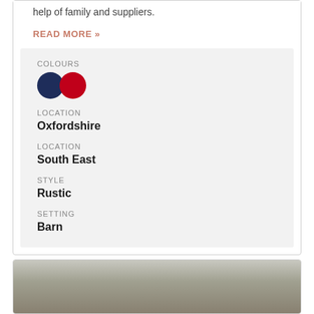help of family and suppliers.
READ MORE »
COLOURS
[Figure (illustration): Two colour swatches: navy blue circle and red circle]
LOCATION
Oxfordshire
LOCATION
South East
STYLE
Rustic
SETTING
Barn
[Figure (photo): Photo of a person, partially visible, with trees and sky in background]